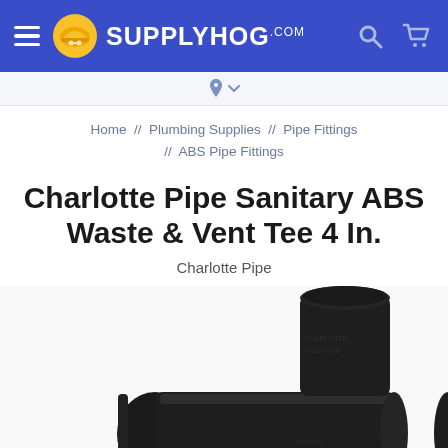SUPPLYHOG.com
Home // Plumbing Supplies // Pipe Fittings // ABS Pipe Fittings
Charlotte Pipe Sanitary ABS Waste & Vent Tee 4 In.
Charlotte Pipe
[Figure (photo): Black ABS sanitary tee pipe fitting (4 inch) by Charlotte Pipe, shown close-up on white background. The fitting shows molded text including 'CHARLOTTE' and 'MADE IN USA' on the body.]